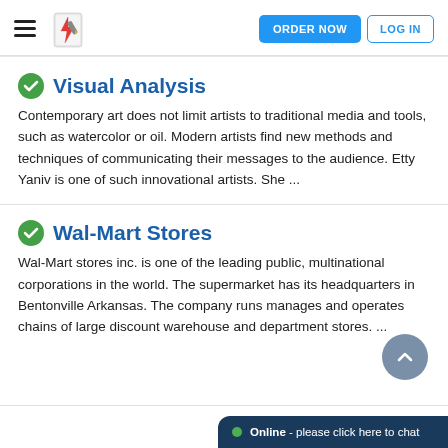ORDER NOW | LOG IN
Visual Analysis
Contemporary art does not limit artists to traditional media and tools, such as watercolor or oil. Modern artists find new methods and techniques of communicating their messages to the audience. Etty Yaniv is one of such innovational artists. She ...
Wal-Mart Stores
Wal-Mart stores inc. is one of the leading public, multinational corporations in the world. The supermarket has its headquarters in Bentonville Arkansas. The company runs manages and operates chains of large discount warehouse and department stores. ...